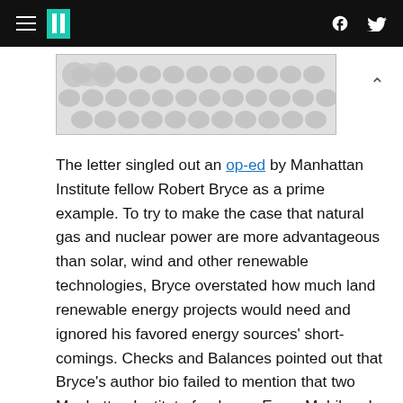HuffPost
[Figure (illustration): Advertisement banner with grey polka dot / bubble pattern]
The letter singled out an op-ed by Manhattan Institute fellow Robert Bryce as a prime example. To try to make the case that natural gas and nuclear power are more advantageous than solar, wind and other renewable technologies, Bryce overstated how much land renewable energy projects would need and ignored his favored energy sources' short-comings. Checks and Balances pointed out that Bryce's author bio failed to mention that two Manhattan Institute funders -- ExxonMobil and the Koch brothers -- are in the natural gas business.